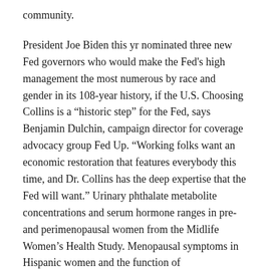community.
President Joe Biden this yr nominated three new Fed governors who would make the Fed's high management the most numerous by race and gender in its 108-year history, if the U.S. Choosing Collins is a “historic step” for the Fed, says Benjamin Dulchin, campaign director for coverage advocacy group Fed Up. “Working folks want an economic restoration that features everybody this time, and Dr. Collins has the deep expertise that the Fed will want.” Urinary phthalate metabolite concentrations and serum hormone ranges in pre- and perimenopausal women from the Midlife Women’s Health Study. Menopausal symptoms in Hispanic women and the function of socioeconomic elements. Civic Engagement and Voter Education increases the electoral and political energy of Black girls by way of voter schooling, registration and outreach during and between elections.